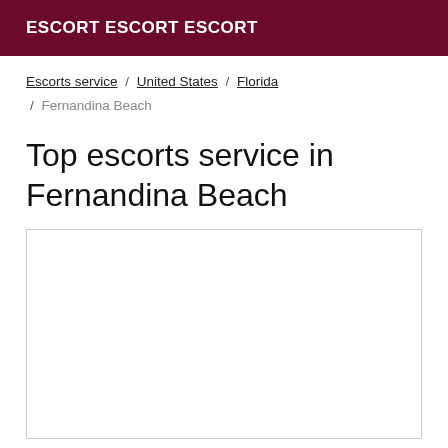ESCORT ESCORT ESCORT
Escorts service / United States / Florida / Fernandina Beach
Top escorts service in Fernandina Beach
[Figure (other): Empty white content card/box with a light gray border]